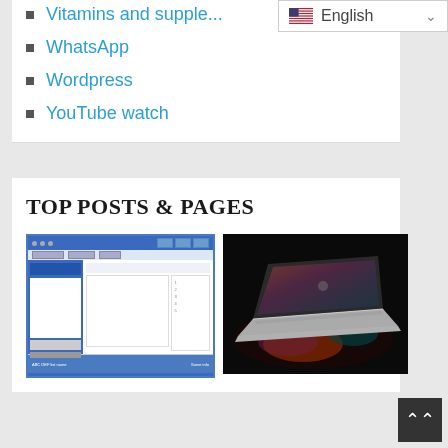Vitamins and supple...
WhatsApp
Wordpress
YouTube watch
TOP POSTS & PAGES
[Figure (screenshot): Screenshot of a desktop software application with blue titlebar and sidebar]
[Figure (photo): Photo of a laptop computer open on a dark background with colorful light reflections]